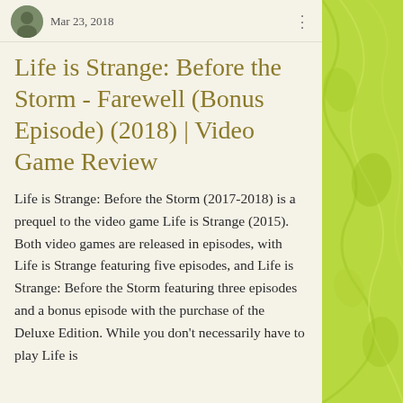Mar 23, 2018
Life is Strange: Before the Storm - Farewell (Bonus Episode) (2018) | Video Game Review
Life is Strange: Before the Storm (2017-2018) is a prequel to the video game Life is Strange (2015). Both video games are released in episodes, with Life is Strange featuring five episodes, and Life is Strange: Before the Storm featuring three episodes and a bonus episode with the purchase of the Deluxe Edition. While you don't necessarily have to play Life is